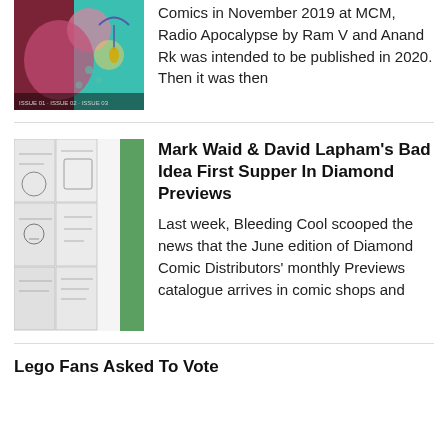[Figure (illustration): Comic book covers collage — colorful illustration with pinks, magentas, teal]
Comics in November 2019 at MCM, Radio Apocalypse by Ram V and Anand Rk was intended to be published in 2020. Then it was then
[Figure (illustration): Comic book with grid panels in black and white sketch style, green spine on right]
Mark Waid & David Lapham's Bad Idea First Supper In Diamond Previews
Last week, Bleeding Cool scooped the news that the June edition of Diamond Comic Distributors' monthly Previews catalogue arrives in comic shops and
Lego Fans Asked To Vote